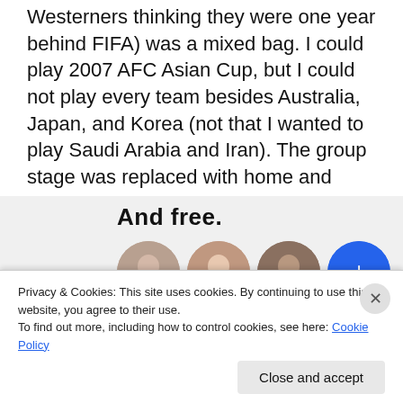Westerners thinking they were one year behind FIFA) was a mixed bag. I could play 2007 AFC Asian Cup, but I could not play every team besides Australia, Japan, and Korea (not that I wanted to play Saudi Arabia and Iran). The group stage was replaced with home and away qualifications. The songs (all produced in house) was horrible and so was the menu outline – compared to FIFA 08.
[Figure (screenshot): Partial screenshot of a website showing 'And free.' heading in bold and four circular avatar images below it on a light gray background]
Privacy & Cookies: This site uses cookies. By continuing to use this website, you agree to their use.
To find out more, including how to control cookies, see here: Cookie Policy